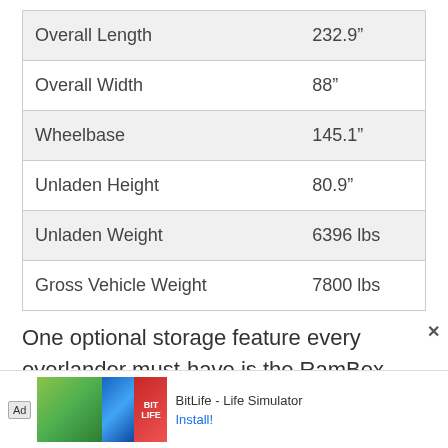| Specification | Value |
| --- | --- |
| Overall Length | 232.9″ |
| Overall Width | 88" |
| Wheelbase | 145.1″ |
| Unladen Height | 80.9″ |
| Unladen Weight | 6396 lbs |
| Gross Vehicle Weight | 7800 lbs |
One optional storage feature every overlander must-have is the RamBox Cargo Management